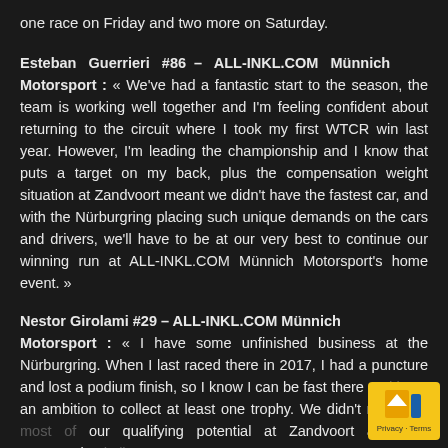one race on Friday and two more on Saturday.
Esteban Guerrieri #86 – ALL-INKL.COM Münnich Motorsport : « We've had a fantastic start to the season, the team is working well together and I'm feeling confident about returning to the circuit where I took my first WTCR win last year. However, I'm leading the championship and I know that puts a target on my back, plus the compensation weight situation at Zandvoort meant we didn't have the fastest car, and with the Nürburgring placing such unique demands on the cars and drivers, we'll have to be at our very best to continue our winning run at ALL-INKL.COM Münnich Motorsport's home event. »
Nestor Girolami #29 – ALL-INKL.COM Münnich Motorsport : « I have some unfinished business at the Nürburgring. When I last raced there in 2017, I had a puncture and lost a podium finish, so I know I can be fast there and I have an ambition to collect at least one trophy. We didn't make the most of our qualifying potential at Zandvoort and that compromised all